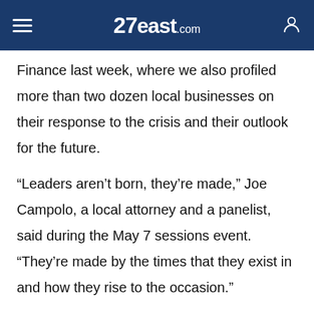27East.com
Finance last week, where we also profiled more than two dozen local businesses on their response to the crisis and their outlook for the future.
“Leaders aren’t born, they’re made,” Joe Campolo, a local attorney and a panelist, said during the May 7 sessions event. “They’re made by the times that they exist in and how they rise to the occasion.”
Another Express Session, “Reenvisioning Main Street in the Time of Coronavirus,” is planned this Thursday, May 21, and will focus on discussions with local government